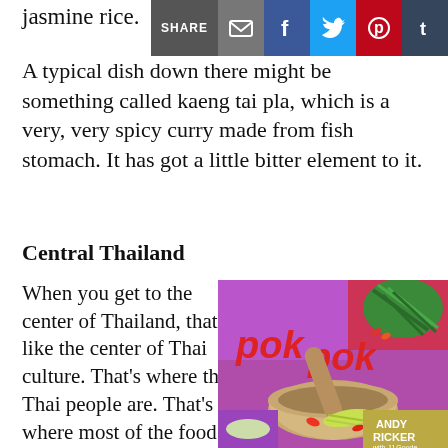jasmine rice.
[Figure (infographic): Social share bar with SHARE label and icons for email, Facebook, Twitter, Pinterest, Tumblr]
A typical dish down there might be something called kaeng tai pla, which is a very, very spicy curry made from fish stomach. It has got a little bitter element to it.
Central Thailand
When you get to the center of Thailand, that's like the center of Thai culture. That's where the Thai people are. That's where most of the food that we find in restaurants here in America comes from, the center part of Thailand. That's the seat of power.
[Figure (photo): Book cover of 'Pok Pok' by Andy Ricker with JJ Goode, showing a mortar and pestle with Thai food ingredients, red and pink background with green chilies and vegetables.]